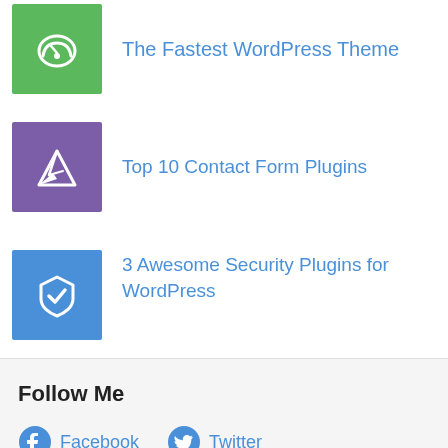The Fastest WordPress Theme
Top 10 Contact Form Plugins
3 Awesome Security Plugins for WordPress
Follow Me
Facebook  Twitter